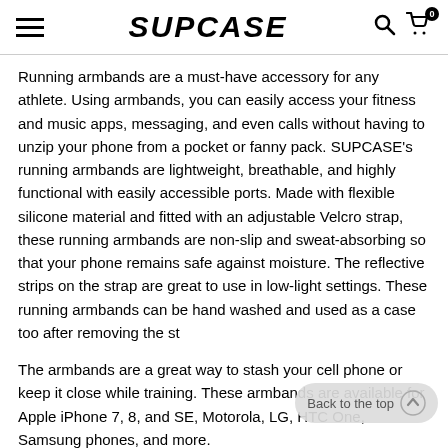SUPCASE
Running armbands are a must-have accessory for any athlete. Using armbands, you can easily access your fitness and music apps, messaging, and even calls without having to unzip your phone from a pocket or fanny pack. SUPCASE's running armbands are lightweight, breathable, and highly functional with easily accessible ports. Made with flexible silicone material and fitted with an adjustable Velcro strap, these running armbands are non-slip and sweat-absorbing so that your phone remains safe against moisture. The reflective strips on the strap are great to use in low-light settings. These running armbands can be hand washed and used as a case too after removing the st
The armbands are a great way to stash your cell phone or keep it close while training. These armbands are available for Apple iPhone 7, 8, and SE, Motorola, LG, HTC One, Samsung phones, and more.